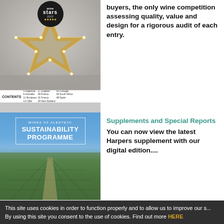[Figure (photo): Wine Stars 2022 award cover showing a star-shaped marquee light sign with CONTENTS listing countries]
buyers, the only wine competition assessing quality, value and design for a rigorous audit of each entry.
[Figure (photo): Wines of Alentejo Sustainability Programme promotional image showing vineyard rows under blue sky]
Supplements and Special Reports
You can now view the latest Harpers supplement with our digital edition....
This site uses cookies in order to function properly and to allow us to improve our s... By using this site you consent to the use of cookies. Find out more HERE